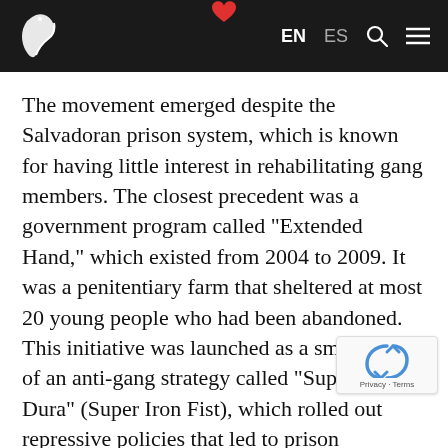EN ES [search] [menu]
The movement emerged despite the Salvadoran prison system, which is known for having little interest in rehabilitating gang members. The closest precedent was a government program called "Extended Hand," which existed from 2004 to 2009. It was a penitentiary farm that sheltered at most 20 young people who had been abandoned. This initiative was launched as a small piece of an anti-gang strategy called "Super Mano Dura" (Super Iron Fist), which rolled out repressive policies that led to prison overcrowding.
In sector five of the Gotera facility, the preaching was a little more intense each day